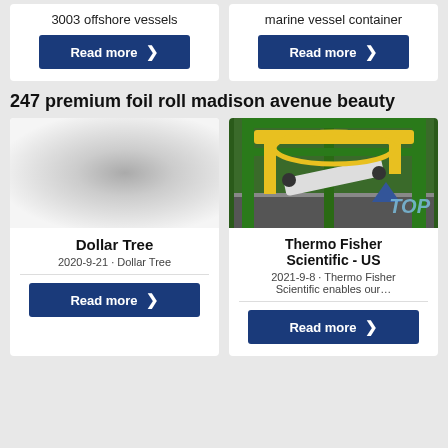3003 offshore vessels
Read more
marine vessel container
Read more
247 premium foil roll madison avenue beauty
[Figure (photo): Shiny metallic foil roll, grayscale gradient image]
Dollar Tree
2020-9-21 · Dollar Tree
Read more
[Figure (photo): Industrial machinery with green frame and yellow components, foil rolling equipment]
TOP
Thermo Fisher Scientific - US
2021-9-8 · Thermo Fisher Scientific enables our…
Read more